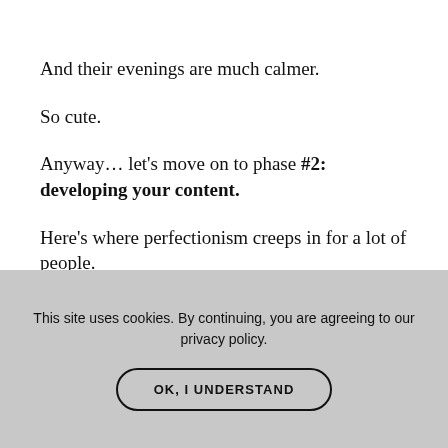And their evenings are much calmer.
So cute.
Anyway… let's move on to phase #2: developing your content.
Here's where perfectionism creeps in for a lot of people.
So I want you to wipe your mind clean of ALLLL the
This site uses cookies. By continuing, you are agreeing to our privacy policy.
OK, I UNDERSTAND